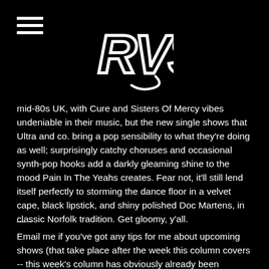RVS logo and menu icon
mid-80s UK, with Cure and Sisters Of Mercy vibes undeniable in their music, but the new single shows that Ultra and co. bring a pop sensibility to what they're doing as well; surprisingly catchy choruses and occasional synth-pop hooks add a darkly gleaming shine to the mood Pain In The Yeahs creates. Fear not, it'll still lend itself perfectly to storming the dance floor in a velvet cape, black lipstick, and shiny polished Doc Martens, in classic Norfolk tradition. Get gloomy, y'all.
— -
Email me if you've got any tips for me about upcoming shows (that take place after the week this column covers -- this week's column has obviously already been written): drew@gayrva.com